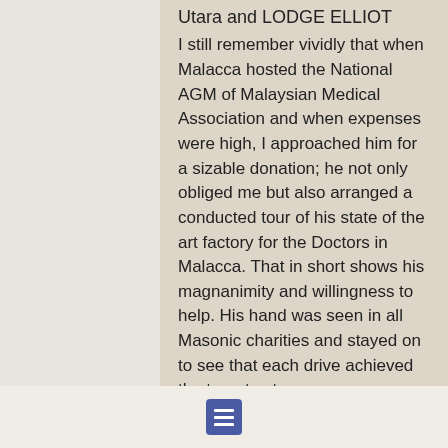Utara and LODGE ELLIOT
I still remember vividly that when Malacca hosted the National AGM of Malaysian Medical Association and when expenses were high, I approached him for a sizable donation; he not only obliged me but also arranged a conducted tour of his state of the art factory for the Doctors in Malacca. That in short shows his magnanimity and willingness to help. His hand was seen in all Masonic charities and stayed on to see that each drive achieved the target set.
Lodge regularly. He travelled for all